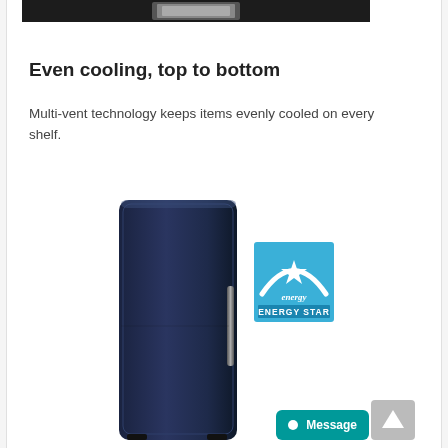[Figure (photo): Top portion of a dark refrigerator product image, cropped at the top of the page]
Even cooling, top to bottom
Multi-vent technology keeps items evenly cooled on every shelf.
[Figure (photo): Dark navy blue single-door upright refrigerator (Samsung Bespoke column refrigerator) shown in full height]
[Figure (logo): ENERGY STAR certification logo — blue square with white arch and star graphic, text reads 'energy' and 'ENERGY STAR']
[Figure (other): Gray scroll-to-top button with upward arrow chevron in bottom right area]
Message